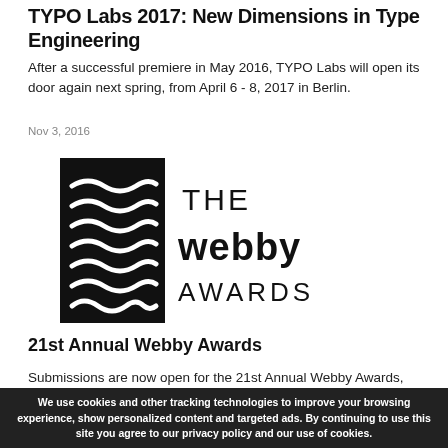TYPO Labs 2017: New Dimensions in Type Engineering
After a successful premiere in May 2016, TYPO Labs will open its door again next spring, from April 6 - 8, 2017 in Berlin.
Nov 3, 2016
[Figure (logo): The Webby Awards logo — black square with white wavy lines on left, text 'THE WEBBY AWARDS' on right]
21st Annual Webby Awards
Submissions are now open for the 21st Annual Webby Awards, the leading international award honoring excellence on the Internet.
Oct 25, 2016
We use cookies and other tracking technologies to improve your browsing experience, show personalized content and targeted ads. By continuing to use this site you agree to our privacy policy and our use of cookies.